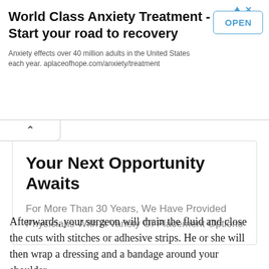[Figure (other): Advertisement banner: 'World Class Anxiety Treatment - Start your road to recovery'. Includes OPEN button, ad icon (triangle and X), and subtext 'Anxiety effects over 40 million adults in the United States each year. aplaceofhope.com/anxiety/treatment']
[Figure (other): Physician placement advertisement card with title 'Your Next Opportunity Awaits' and subtext 'For More Than 30 Years, We Have Provided Physicians With A Variety Of Placement Options']
Afterwards, your surgeon will drain the fluid and close the cuts with stitches or adhesive strips. He or she will then wrap a dressing and a bandage around your shoulder.